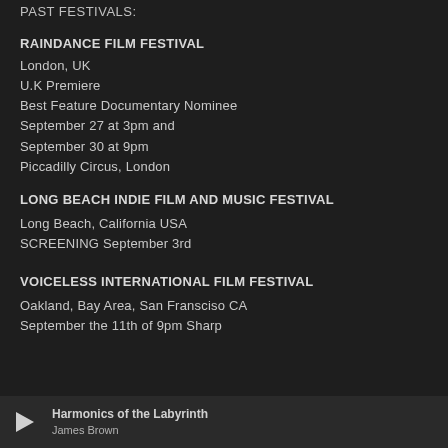PAST FESTIVALS:
RAINDANCE FILM FESTIVAL
London, UK
U.K Premiere
Best Feature Documentary Nominee
September 27 at 3pm and
September 30 at 9pm
Piccadilly Circus, London
LONG BEACH INDIE FILM AND MUSIC FESTIVAL
Long Beach, California USA
SCREENING September 3rd
VOICELESS INTERNATIONAL FILM FESTIVAL
Oakland, Bay Area, San Fransciso CA
September the 11th of 9pm Sharp
Harmonics of the Labyrinth
James Brown